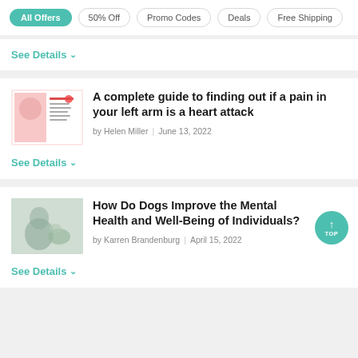All Offers | 50% Off | Promo Codes | Deals | Free Shipping
See Details
A complete guide to finding out if a pain in your left arm is a heart attack
by Helen Miller  |  June 13, 2022
See Details
How Do Dogs Improve the Mental Health and Well-Being of Individuals?
by Karren Brandenburg  |  April 15, 2022
See Details